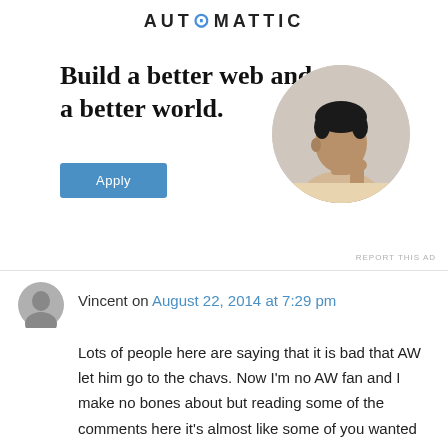[Figure (logo): Automattic logo with stylized text and a blue dot in the letter O]
Build a better web and a better world.
[Figure (photo): Circular photo of a man sitting at a desk, resting his chin on his hand, looking thoughtfully upward]
Apply
REPORT THIS AD
Vincent on August 22, 2014 at 7:29 pm
Lots of people here are saying that it is bad that AW let him go to the chavs. Now I'm no AW fan and I make no bones about but reading some of the comments here it's almost like some of you wanted to have signed Fabrefas just so he didnt go to Chelsea!